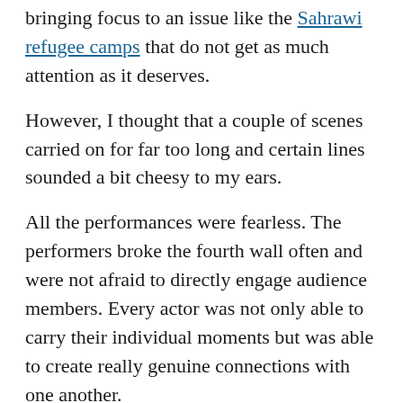bringing focus to an issue like the Sahrawi refugee camps that do not get as much attention as it deserves.
However, I thought that a couple of scenes carried on for far too long and certain lines sounded a bit cheesy to my ears.
All the performances were fearless. The performers broke the fourth wall often and were not afraid to directly engage audience members. Every actor was not only able to carry their individual moments but was able to create really genuine connections with one another.
Unfortunately, I was often distracted by some of the accent work. Sometimes the actors seemed so focused on keeping their accents that they lost volume or enunciation. There were also times where I felt that they could've taken a more time with the more tender moments.
I found the play...